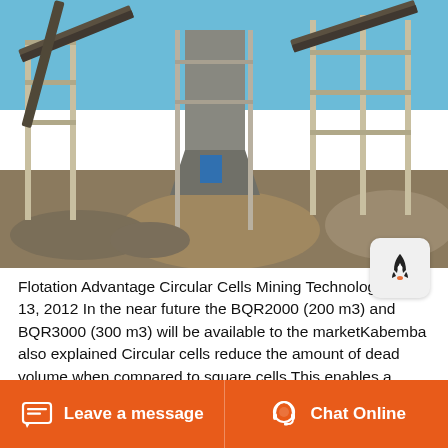[Figure (photo): Outdoor mining facility with large conveyor belts, metal scaffolding structures, and piles of crushed rock/gravel on a clear day]
Flotation Advantage Circular Cells Mining Technology . Jan 13, 2012 In the near future the BQR2000 (200 m3) and BQR3000 (300 m3) will be available to the marketKabemba also explained Circular cells reduce the amount of dead volume when compared to square cells This enables a much higher effective pulp volume, hence
Leave a message   Chat Online